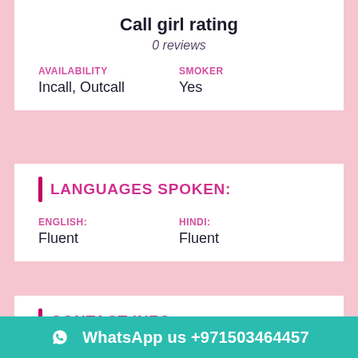Call girl rating
0 reviews
AVAILABILITY
Incall, Outcall
SMOKER
Yes
LANGUAGES SPOKEN:
ENGLISH:
Fluent
HINDI:
Fluent
CONTACT INFO:
City: Business Bay
Country:
Website: https://www.businessbaycallgi
WhatsApp us +971503464457